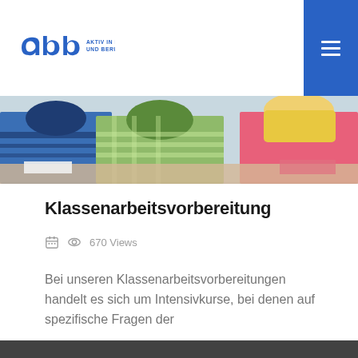[Figure (logo): abb - Aktiv in Bildung und Beruf logo with stylized 'abb' letters and tagline]
[Figure (photo): Classroom photo showing students studying at desks, viewed from behind]
Klassenarbeitsvorbereitung
670 Views
Bei unseren Klassenarbeitsvorbereitungen handelt es sich um Intensivkurse, bei denen auf spezifische Fragen der